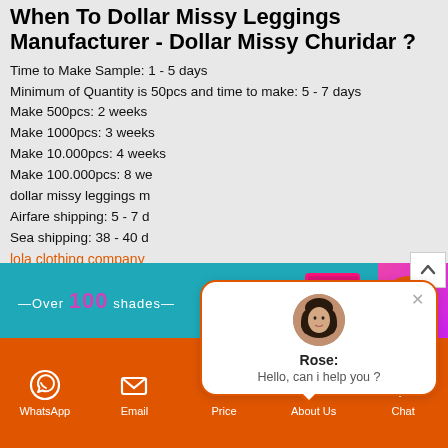When To Dollar Missy Leggings Manufacturer - Dollar Missy Churidar ?
Time to Make Sample: 1 - 5 days
Minimum of Quantity is 50pcs and time to make: 5 - 7 days
Make 500pcs: 2 weeks
Make 1000pcs: 3 weeks
Make 10.000pcs: 4 weeks
Make 100.000pcs: 8 we...
dollar missy leggings m...
Airfare shipping: 5 - 7 d...
Sea shipping: 38 - 40 d...
lola clothing company
[Figure (screenshot): Banner with teal background showing 'Over 100 shades' text and a pink/magenta product image with Dollar brand logo]
[Figure (screenshot): Chat popup with avatar of Rose saying 'Hello, can i help you ?']
WhatsApp | Email | Price | About Us | Chat